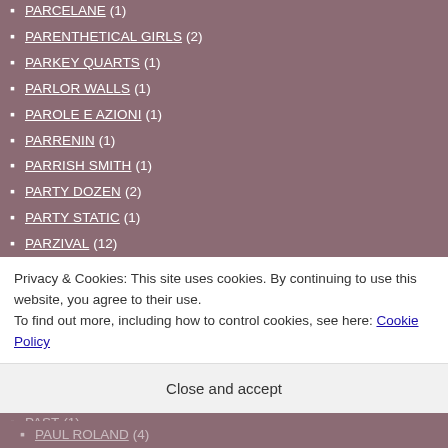PARENTHETICAL GIRLS (2)
PARKEY QUARTS (1)
PARLOR WALLS (1)
PAROLE E AZIONI (1)
PARRENIN (1)
PARRISH SMITH (1)
PARTY DOZEN (2)
PARTY STATIC (1)
PARZIVAL (12)
PASCAL (1)
PASCAL COMELADE (2)
PASSION NOIRE (1)
PASSION PLAY (2)
PASSIONATE PERSON (2)
PASSIONE NERA (1)
PAST (1)
Privacy & Cookies: This site uses cookies. By continuing to use this website, you agree to their use. To find out more, including how to control cookies, see here: Cookie Policy
Close and accept
PAUL ROLAND (4)